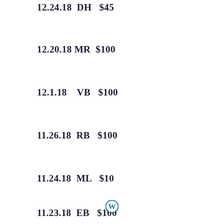12.24.18  DH   $45
12.20.18  MR   $100
12.1.18    VB    $100
11.26.18  RB    $100
11.24.18  ML    $10
11.23.18  EB    $100
[Figure (logo): WordPress logo - blue circular W icon]